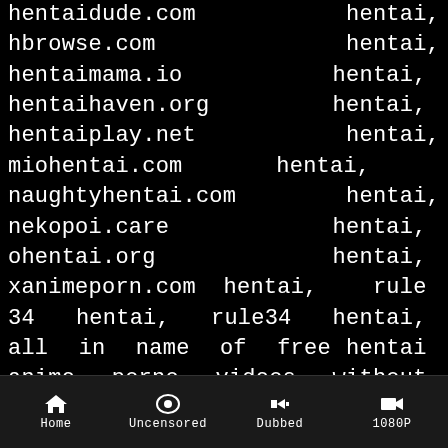hentaidude.com hentai, hbrowse.com hentai, hentaimama.io hentai, hentaihaven.org hentai, hentaiplay.net hentai, miohentai.com hentai, naughtyhentai.com hentai, nekopoi.care hentai, ohentai.org hentai, xanimeporn.com hentai, rule 34 hentai, rule34 hentai, all in name of free hentai anime porno videos without any issues or annoying and pathetic designs. We are the better and new HentaiHaven copies, old Hentai Haven and Hentaihaven.org team and better than hentaihaven.xxx, hentaihaven.red, hentaihaven.vip and all other copied clones out there. You would see that we have more high quality content than hanime.tv with faster updates. We are your new goto website for hentai porn and anime porno. You can check all our hentai videos to make sure you have subscribed or visit
Home | Uncensored | Dubbed | 1080P